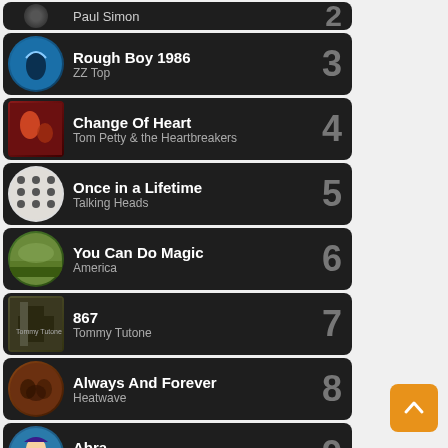2 - Paul Simon (partial)
3 - Rough Boy 1986 - ZZ Top
4 - Change Of Heart - Tom Petty & the Heartbreakers
5 - Once in a Lifetime - Talking Heads
6 - You Can Do Magic - America
7 - 867 - Tommy Tutone
8 - Always And Forever - Heatwave
9 - Abra - The DeFranco Family
10 - Gold (partial)